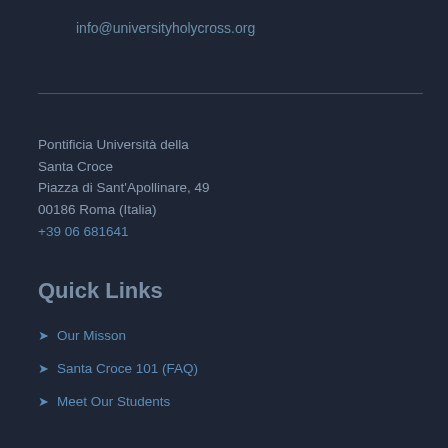info@universityholycross.org
Pontificia Università della Santa Croce
Piazza di Sant'Apollinare, 49
00186 Roma (Italia)
+39 06 681641
Quick Links
➤ Our Misson
➤ Santa Croce 101 (FAQ)
➤ Meet Our Students